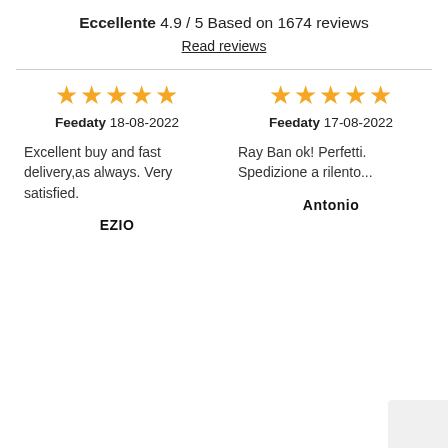Eccellente 4.9 / 5 Based on 1674 reviews
Read reviews
★★★★★ Feedaty 18-08-2022
Excellent buy and fast delivery,as always. Very satisfied.
EZIO
★★★★★ Feedaty 17-08-2022
Ray Ban ok! Perfetti. Spedizione a rilento...
Antonio